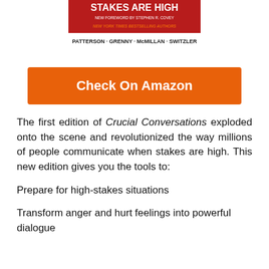[Figure (illustration): Book cover for Crucial Conversations showing red background with title 'STAKES ARE HIGH', subtitle 'NEW FOREWORD BY STEPHEN R. COVEY', and authors 'NEW YORK TIMES BESTSELLING AUTHORS PATTERSON · GRENNY · McMILLAN · SWITZLER']
Check On Amazon
The first edition of Crucial Conversations exploded onto the scene and revolutionized the way millions of people communicate when stakes are high. This new edition gives you the tools to:
Prepare for high-stakes situations
Transform anger and hurt feelings into powerful dialogue